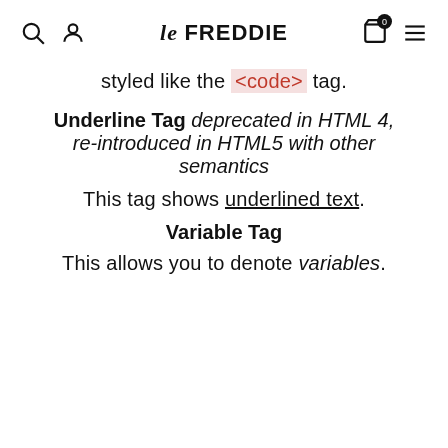le FREDDIE
styled like the <code> tag.
Underline Tag deprecated in HTML 4, re-introduced in HTML5 with other semantics
This tag shows underlined text.
Variable Tag
This allows you to denote variables.